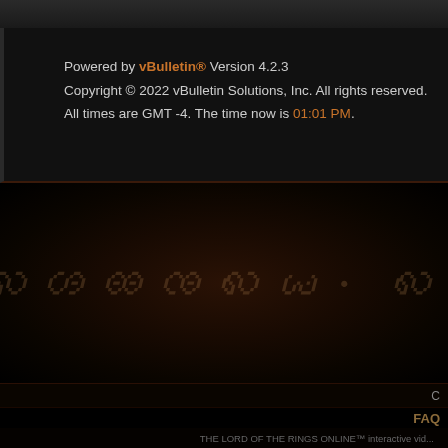Powered by vBulletin® Version 4.2.3
Copyright © 2022 vBulletin Solutions, Inc. All rights reserved.
All times are GMT -4. The time now is 01:01 PM.
[Figure (illustration): Dark decorative banner with Tengwar/Elvish script text watermarked in faded orange-brown on a dark brown/black radial gradient background, resembling the Lord of the Rings Online game aesthetic.]
C
FAQ
THE LORD OF THE RINGS ONLINE™ interactive vid... trademarks of Standing Stone Games LLC. . The Lor... Middle-earth Enterprises logo, The Lord of the Rings, ... d/b/a Midd...